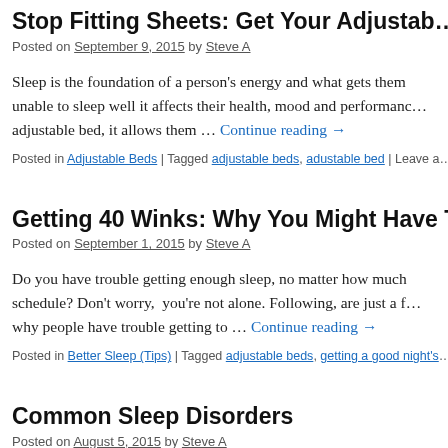Stop Fitting Sheets: Get Your Adjustable…
Posted on September 9, 2015 by Steve A
Sleep is the foundation of a person's energy and what gets them … unable to sleep well it affects their health, mood and performance… adjustable bed, it allows them … Continue reading →
Posted in Adjustable Beds | Tagged adjustable beds, adustable bed | Leave a
Getting 40 Winks: Why You Might Have T…
Posted on September 1, 2015 by Steve A
Do you have trouble getting enough sleep, no matter how much… schedule? Don't worry, you're not alone. Following, are just a f… why people have trouble getting to … Continue reading →
Posted in Better Sleep (Tips) | Tagged adjustable beds, getting a good night's
Common Sleep Disorders
Posted on August 5, 2015 by Steve A